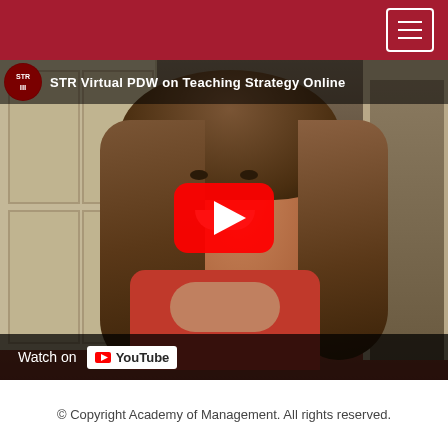Navigation bar with hamburger menu
[Figure (screenshot): YouTube video thumbnail showing a smiling woman with long brown hair wearing a red top, with clasped hands. The video is titled 'STR Virtual PDW on Teaching Strategy Online'. A red YouTube play button is overlaid in the center. A 'Watch on YouTube' bar appears at the bottom of the thumbnail.]
© Copyright Academy of Management. All rights reserved.